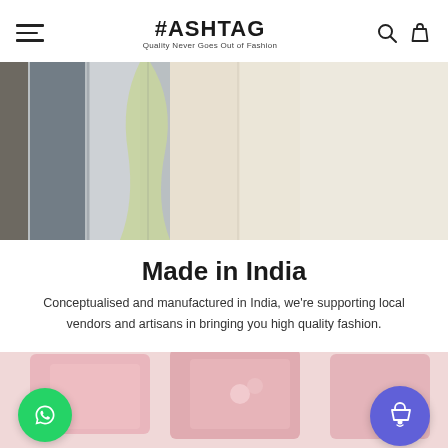#ASHTAG — Quality Never Goes Out of Fashion
[Figure (photo): Hanging garments on rack — grey, white, yellow-green, and cream colored clothing displayed on hangers in a store setting.]
Made in India
Conceptualised and manufactured in India, we're supporting local vendors and artisans in bringing you high quality fashion.
[Figure (photo): Bottom section showing pink packaged fashion products, a WhatsApp green circle button on the left and a blue/purple shopping cart circle button on the right.]